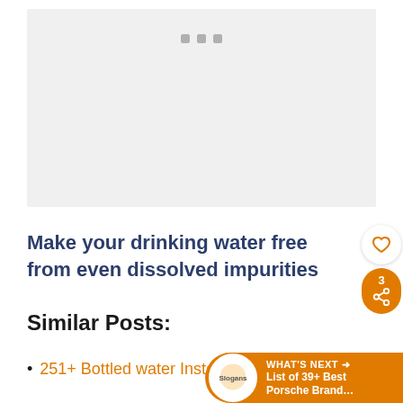[Figure (photo): Image placeholder with loading dots, light gray background representing a water/filter related image]
Make your drinking water free from even dissolved impurities
Similar Posts:
251+ Bottled water Instagram